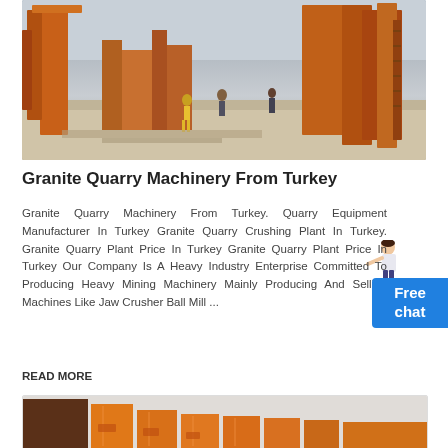[Figure (photo): Granite quarry crushing plant machinery with orange structures, workers visible, outdoor industrial setting]
Granite Quarry Machinery From Turkey
Granite Quarry Machinery From Turkey. Quarry Equipment Manufacturer In Turkey Granite Quarry Crushing Plant In Turkey. Granite Quarry Plant Price In Turkey Granite Quarry Plant Price In Turkey Our Company Is A Heavy Industry Enterprise Committed To Producing Heavy Mining Machinery Mainly Producing And Selling Machines Like Jaw Crusher Ball Mill ...
READ MORE
[Figure (photo): Orange industrial crusher machine components arranged in a row, with a dark side panel visible on the left]